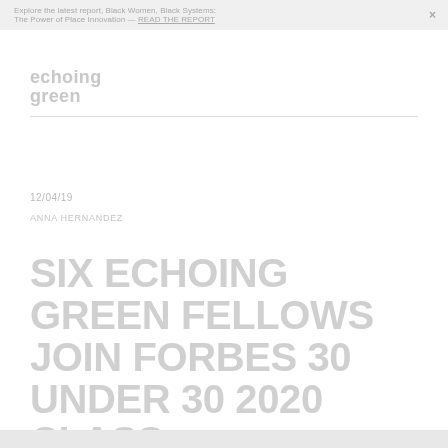Explore the latest report, Black Women, Black Systems: The Power of Place Innovation — READ THE REPORT
[Figure (logo): Echoing Green logo — bold lowercase stacked text 'echoing green' in light gray]
12/04/19
ANNA HERNANDEZ
SIX ECHOING GREEN FELLOWS JOIN FORBES 30 UNDER 30 2020 CLASS